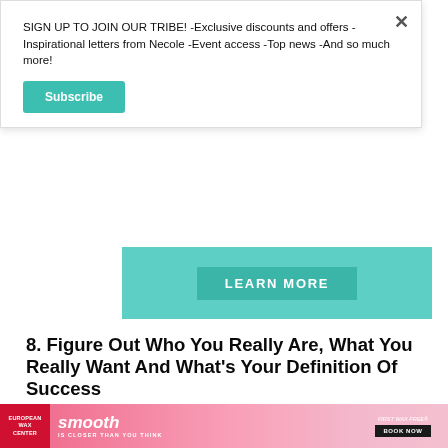SIGN UP TO JOIN OUR TRIBE! -Exclusive discounts and offers -Inspirational letters from Necole -Event access -Top news -And so much more!
Subscribe
[Figure (other): Teal/green advertisement banner with LEARN MORE button]
8. Figure Out Who You Really Are, What You Really Want And What's Your Definition Of Success
This will allow you to be proactive and identify what debts, if any are critical to your goals and dreams. If
[Figure (other): Bottom advertisement banner for European Wax Center: smooth IS CLOSER THAN YOU THINK - FIRST WAX FREE BOOK NOW]